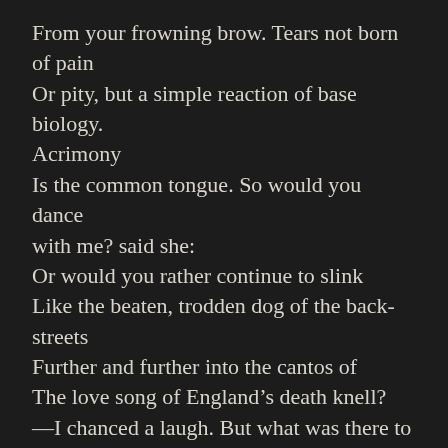From your frowning brow. Tears not born of pain
Or pity, but a simple reaction of base biology.
Acrimony
Is the common tongue. So would you dance with me? said she:
Or would you rather continue to slink
Like the beaten, trodden dog of the back-streets
Further and further into the cantos of
The love song of England's death knell?
—I chanced a laugh. But what was there to laugh for?

        I knew this girl not,